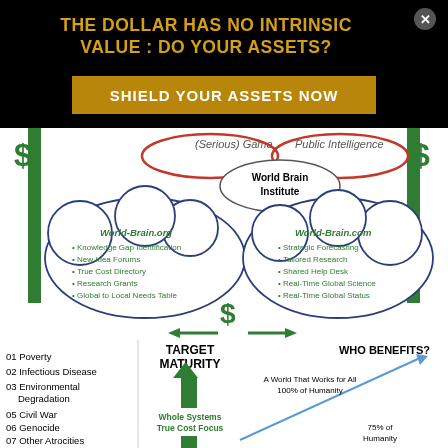THE DOLLAR HAS NO INTRINSIC VALUE : DO YOUR ASSETS?
SHIELD YOUR ASSETS NOW
[Figure (infographic): Infographic showing World Brain Institute at center with two cloud shapes: World-Brain.org (left) listing Knowledge Gap Identification, New Idea Forums, True Cost Directory, Research Grants, Global to Local Needs Table; World-Brain.com (right) listing Strategic Forecasting, Tailored Research, Shared Help Desk, Real-Time Global Science, Real-Time Global Status. Top labels: (Serious) Game and Public Intelligence. Green dollar signs and pillars on sides. Central dollar sign with arrows.]
[Figure (infographic): Bottom section showing Target Maturity with upward green arrow and 'Whole Systems True Cost Focus' label; left list of global challenges (01 Poverty, 02 Infectious Disease, 03 Environmental Degradation, 05 Civil War, 06 Genocide, 07 Other Atrocities); right side 'WHO BENEFITS?' with diagonal arrow and text 'A World That Works for All 100% of Humanity' and '75% of Humanity'.]